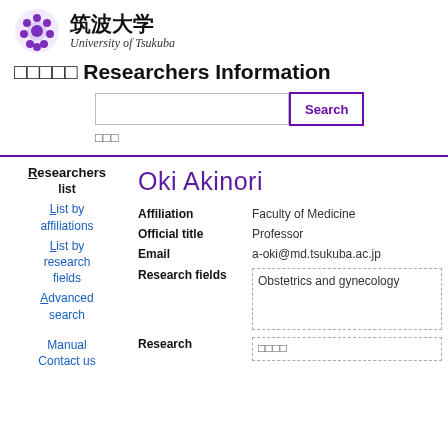[Figure (logo): University of Tsukuba logo with purple emblem and Japanese/English text]
□□□□□ Researchers Information
Search box and search button
□□□
Researchers list
List by affiliations
List by research fields
Advanced search
Manual
Contact us
Oki Akinori
| Field | Value |
| --- | --- |
| Affiliation | Faculty of Medicine |
| Official title | Professor |
| Email | a-oki@md.tsukuba.ac.jp |
| Research fields | Obstetrics and gynecology |
| Research | □□□□ |